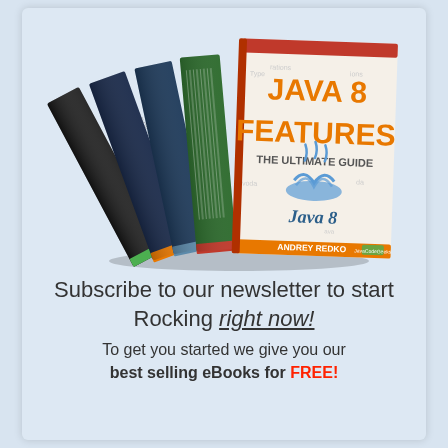[Figure (illustration): A stack of programming eBooks fanned out, including Java 8 Features: The Ultimate Guide by Andrey Redko (front cover), Android UI Design, JVM Troubleshooting, JPA Mini Book, and others behind it. Java 8 logo and steaming coffee cup icon visible on front cover.]
Subscribe to our newsletter to start Rocking right now! To get you started we give you our best selling eBooks for FREE!